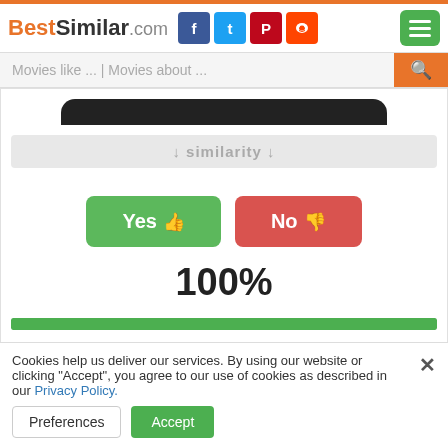BestSimilar.com
Movies like ... | Movies about ...
↓ similarity ↓
Yes 👍  No 👎
100%
It Takes Two (1995)  5.8
Cookies help us deliver our services. By using our website or clicking "Accept", you agree to our use of cookies as described in our Privacy Policy.